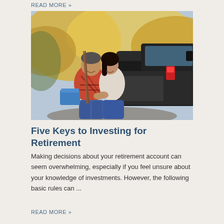READ MORE »
[Figure (photo): Middle-aged couple sitting on the tailgate of a pickup truck, smiling at each other in an outdoor setting with autumn foliage in the background.]
Five Keys to Investing for Retirement
Making decisions about your retirement account can seem overwhelming, especially if you feel unsure about your knowledge of investments. However, the following basic rules can ...
READ MORE »